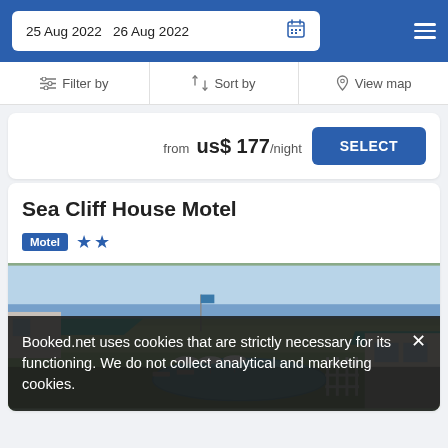25 Aug 2022  26 Aug 2022
Filter by  Sort by  View map
from us$ 177/night  SELECT
Sea Cliff House Motel
Motel ★★
[Figure (photo): Aerial view of Sea Cliff House Motel showing outdoor pool, green lawn, and ocean/beach in the background with teal umbrellas and lounge chairs]
Booked.net uses cookies that are strictly necessary for its functioning. We do not collect analytical and marketing cookies.